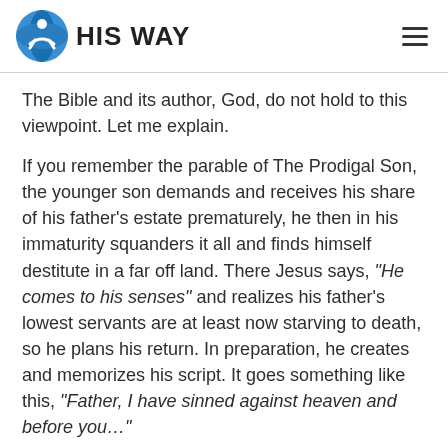HIS WAY
The Bible and its author, God, do not hold to this viewpoint.  Let me explain.
If you remember the parable of The Prodigal Son, the younger son demands and receives his share of his father’s estate prematurely, he then in his immaturity squanders it all and finds himself destitute in a far off land.  There Jesus says, “He comes to his senses” and realizes his father’s lowest servants are at least now starving to death, so he plans his return.  In preparation, he creates and memorizes his script.  It goes something like this, “Father, I have sinned against heaven and before you…”